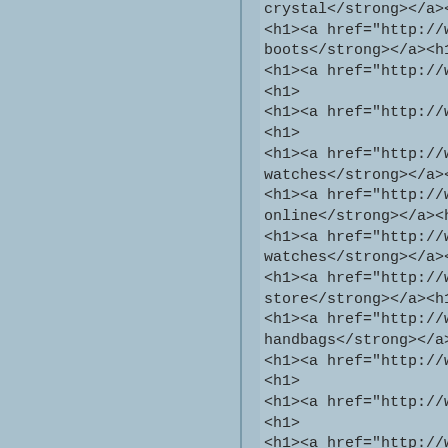crystal</strong></a><h1>
<h1><a href="http://www.timber boots</strong></a><h1>
<h1><a href="http://www.nikesh <h1>
<h1><a href="http://www.nikesh <h1>
<h1><a href="http://www.rolex-r watches</strong></a><h1>
<h1><a href="http://www.vuitton online</strong></a><h1>
<h1><a href="http://www.rolex-r watches</strong></a><h1>
<h1><a href="http://www.uggsb store</strong></a><h1>
<h1><a href="http://www.coachh handbags</strong></a><h1>
<h1><a href="http://www.fitflops <h1>
<h1><a href="http://www.uggs-o <h1>
<h1><a href="http://www.adidas </a><h1>
<h1><a href="http://www.ultrabo <h1><a href="http://www.adidas yeezy</strong></a><h1>
<h1><a href="http://www.cartier <h1><a href="http://www.salvato